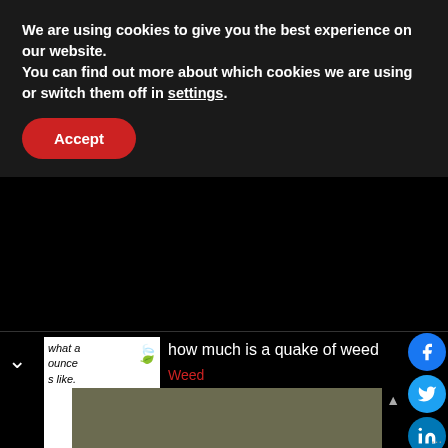We are using cookies to give you the best experience on our website.
You can find out more about which cookies we are using or switch them off in settings.
Accept
what a ounce s like.
how much is a quake of weed
Weed
[Figure (screenshot): Social media share icons: Facebook, Twitter, LinkedIn, Pinterest, Reddit, WhatsApp, Email]
[Figure (photo): Main article image with olive/green-grey background, partially visible]